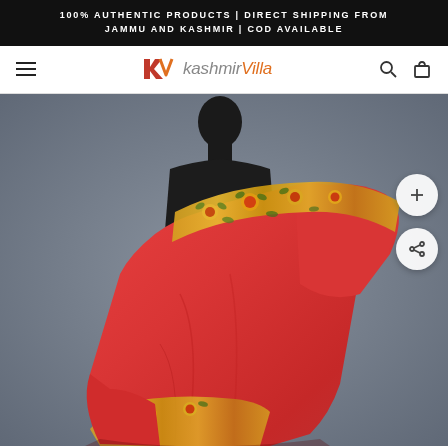100% AUTHENTIC PRODUCTS | DIRECT SHIPPING FROM JAMMU AND KASHMIR | COD AVAILABLE
[Figure (logo): KashmirVilla logo with KV monogram icon in red/orange and italic brand name]
[Figure (photo): Red Kashmiri shawl with floral embroidered border draped on a dark mannequin against grey background]